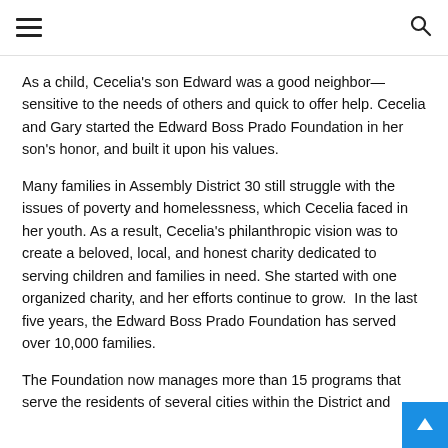≡  🔍
As a child, Cecelia's son Edward was a good neighbor—sensitive to the needs of others and quick to offer help. Cecelia and Gary started the Edward Boss Prado Foundation in her son's honor, and built it upon his values.
Many families in Assembly District 30 still struggle with the issues of poverty and homelessness, which Cecelia faced in her youth. As a result, Cecelia's philanthropic vision was to create a beloved, local, and honest charity dedicated to serving children and families in need. She started with one organized charity, and her efforts continue to grow. In the last five years, the Edward Boss Prado Foundation has served over 10,000 families.
The Foundation now manages more than 15 programs that serve the residents of several cities within the District and